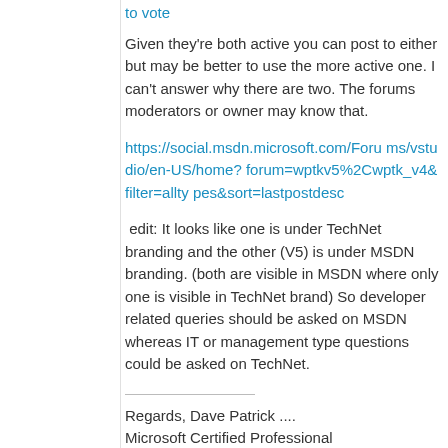to vote
Given they're both active you can post to either but may be better to use the more active one. I can't answer why there are two. The forums moderators or owner may know that.
https://social.msdn.microsoft.com/Forums/vstudio/en-US/home?forum=wptkv5%2Cwptk_v4&filter=alltypes&sort=lastpostdesc
edit: It looks like one is under TechNet branding and the other (V5) is under MSDN branding. (both are visible in MSDN where only one is visible in TechNet brand) So developer related queries should be asked on MSDN whereas IT or management type questions could be asked on TechNet.
Regards, Dave Patrick ....
Microsoft Certified Professional